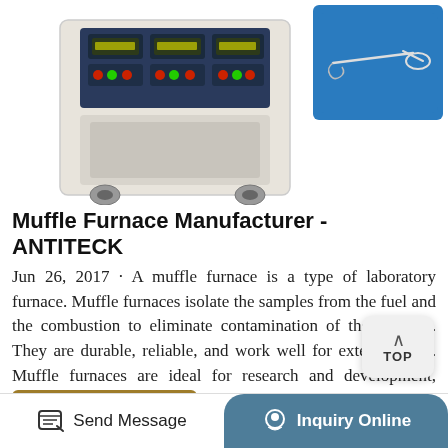[Figure (photo): A muffle furnace laboratory equipment on wheels with control panel, and a blue-background tool/instrument image in the top right corner]
Muffle Furnace Manufacturer - ANTITECK
Jun 26, 2017 · A muffle furnace is a type of laboratory furnace. Muffle furnaces isolate the samples from the fuel and the combustion to eliminate contamination of the samples. They are durable, reliable, and work well for extensive use. Muffle furnaces are ideal for research and development, materials testing and quality control, heat treatment, ceramics ...
Learn More
Send Message
Inquiry Online